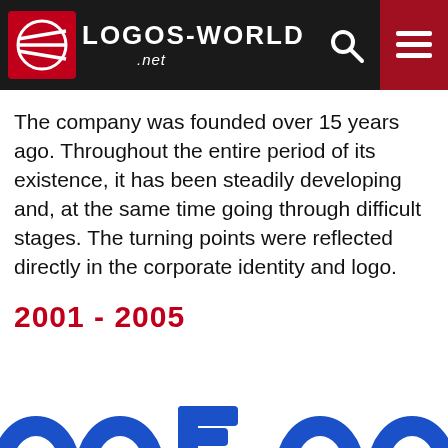LOGOS-WORLD .net
The company was founded over 15 years ago. Throughout the entire period of its existence, it has been steadily developing and, at the same time going through difficult stages. The turning points were reflected directly in the corporate identity and logo.
2001 - 2005
[Figure (logo): Partial view of a blue company logo at the bottom of the page, partially cropped]